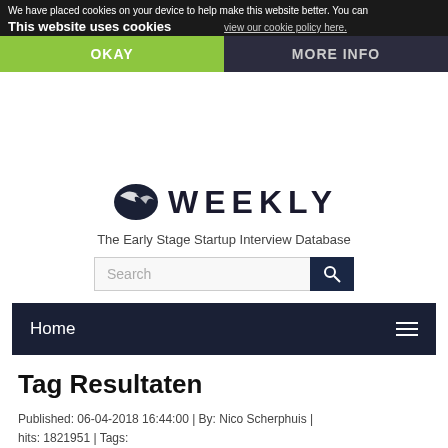We have placed cookies on your device to help make this website better. You can view our cookie policy here. | This website uses cookies | OKAY | MORE INFO
[Figure (logo): Startup Weekly logo with bird icon and 'WEEKLY' text]
The Early Stage Startup Interview Database
[Figure (screenshot): Search bar with search button]
Home
Tag Resultaten
Published: 06-04-2018 16:44:00 | By: Nico Scherphuis | hits: 1821951 | Tags: